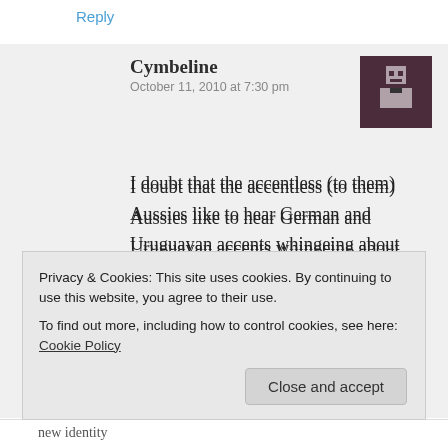Reply
Cymbeline
October 11, 2010 at 7:30 pm
[Figure (illustration): Pixel art avatar icon of a person, dark purple/maroon background]
I doubt that the accentless (to them) Aussies like to hear German and Uruguayan accents whingeing about Britain, and preaching about racism and humanity.
Accents are not visible in print of course – although they can be. I have spoken about that with
Privacy & Cookies: This site uses cookies. By continuing to use this website, you agree to their use.
To find out more, including how to control cookies, see here: Cookie Policy
Close and accept